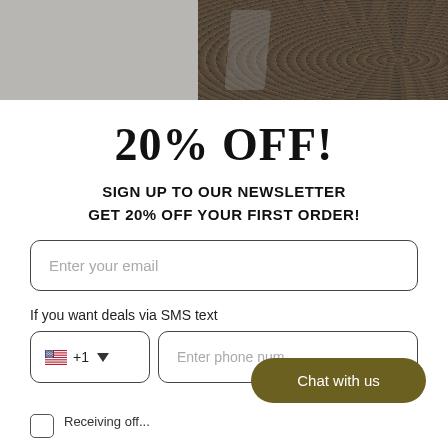[Figure (photo): Banner with grey background on left and dark floral jacket/suit on right side]
20% OFF!
SIGN UP TO OUR NEWSLETTER GET 20% OFF YOUR FIRST ORDER!
Enter your email
If you want deals via SMS text
+1  Enter phone num
Chat with us
Receiving off... (checkbox row)